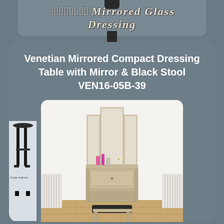MIRRORED GLASS DRESSING
Venetian Mirrored Compact Dressing Table with Mirror & Black Stool VEN16-05B-39
[Figure (photo): Product photo of a Venetian mirrored compact dressing table with a trifold mirror on top, one drawer, cosmetics and flowers on the table surface, and a black upholstered mirrored stool in front. Radiators on both sides. eBay watermark at bottom. On a wooden floor with white walls.]
[Figure (photo): Partial image on left side showing a black adjustable stool or stand with text 'Angle Adjusts']